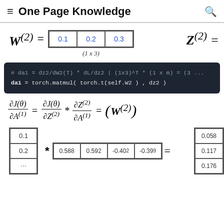≡ One Page Knowledge 🔍
# da1 = dz2/dW2(T) * dL/dz2 | (1x3)^T * (1 x m) = (3 ...)
da1 = torch.matmul( torch.t(self.W2 ) , dz2 )
[Figure (math-figure): Column vector [0.1; 0.2; ...] multiplied by row vector [0.588, 0.592, -0.402, -0.399] equals result matrix with values [0.058; 0.117; 0.176]]